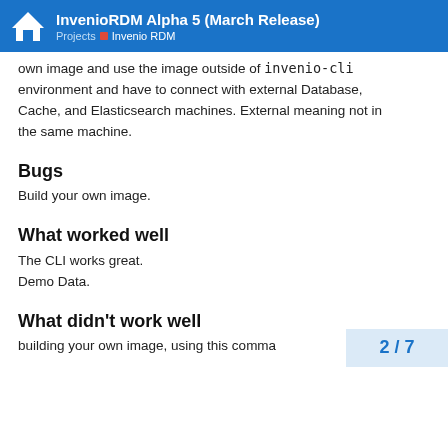InvenioRDM Alpha 5 (March Release) — Projects > Invenio RDM
own image and use the image outside of invenio-cli environment and have to connect with external Database, Cache, and Elasticsearch machines. External meaning not in the same machine.
Bugs
Build your own image.
What worked well
The CLI works great.
Demo Data.
What didn't work well
building your own image, using this comma...
2 / 7